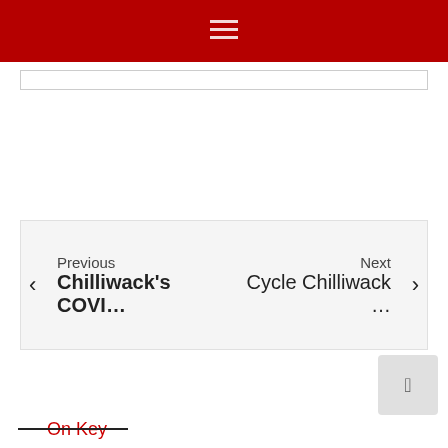Navigation header bar with hamburger menu icon
[Figure (screenshot): Search bar input field]
[Figure (screenshot): Post navigation box with Previous: Chilliwack's COVI... and Next: Cycle Chilliwack ...]
On Key